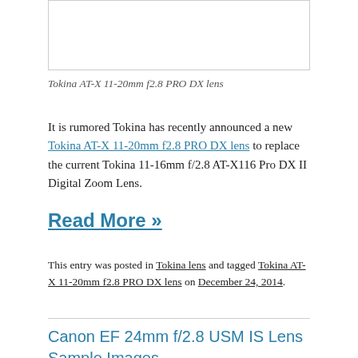[Figure (photo): Partial image of Tokina AT-X 11-20mm f2.8 PRO DX lens, top portion cut off]
Tokina AT-X 11-20mm f2.8 PRO DX lens
It is rumored Tokina has recently announced a new Tokina AT-X 11-20mm f2.8 PRO DX lens to replace the current Tokina 11-16mm f/2.8 AT-X116 Pro DX II Digital Zoom Lens.
Read More »
This entry was posted in Tokina lens and tagged Tokina AT-X 11-20mm f2.8 PRO DX lens on December 24, 2014.
Canon EF 24mm f/2.8 USM IS Lens Sample Images